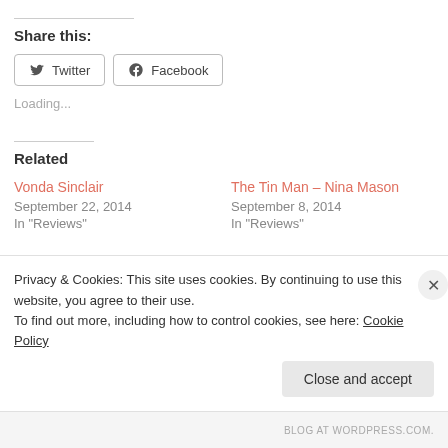Share this:
Twitter  Facebook
Loading...
Related
Vonda Sinclair
September 22, 2014
In "Reviews"
The Tin Man – Nina Mason
September 8, 2014
In "Reviews"
Privacy & Cookies: This site uses cookies. By continuing to use this website, you agree to their use.
To find out more, including how to control cookies, see here: Cookie Policy
Close and accept